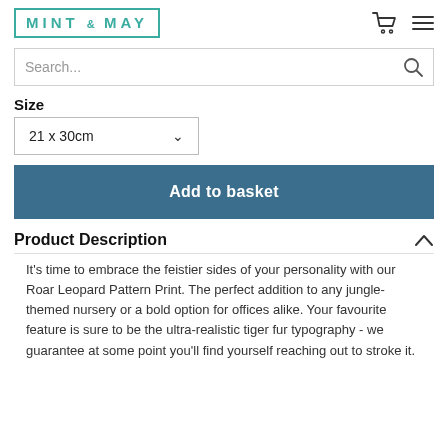[Figure (logo): Mint & May logo in teal/green color with border box]
Search...
Size
21 x 30cm
Add to basket
Product Description
It's time to embrace the feistier sides of your personality with our Roar Leopard Pattern Print. The perfect addition to any jungle-themed nursery or a bold option for offices alike. Your favourite feature is sure to be the ultra-realistic tiger fur typography - we guarantee at some point you'll find yourself reaching out to stroke it.